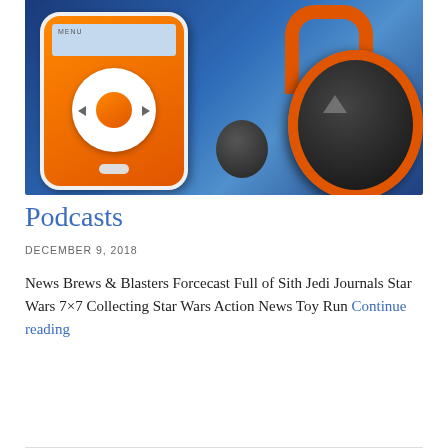[Figure (photo): An orange iPod nano and orange Star Wars branded headphones against a blue background]
Podcasts
DECEMBER 9, 2018
News Brews & Blasters Forcecast Full of Sith Jedi Journals Star Wars 7×7 Collecting Star Wars Action News Toy Run Continue reading